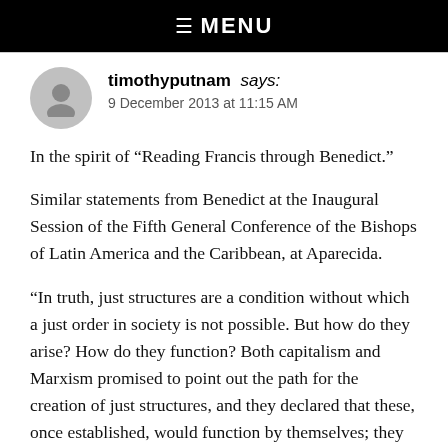☰  MENU
timothyputnam says:
9 December 2013 at 11:15 AM
In the spirit of “Reading Francis through Benedict.”
Similar statements from Benedict at the Inaugural Session of the Fifth General Conference of the Bishops of Latin America and the Caribbean, at Aparecida.
“In truth, just structures are a condition without which a just order in society is not possible. But how do they arise? How do they function? Both capitalism and Marxism promised to point out the path for the creation of just structures, and they declared that these, once established, would function by themselves; they declared that not only would they have no need of any prior individual morality, but that they would